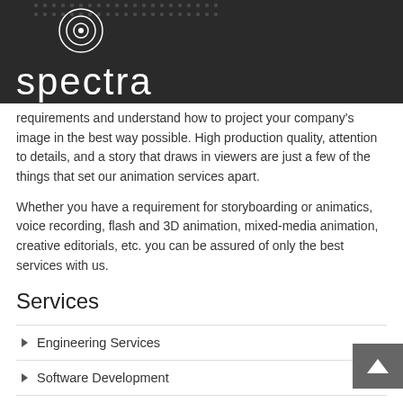[Figure (logo): Spectra company logo with white text on dark background, featuring a circular icon with dots pattern above the word 'spectra']
requirements and understand how to project your company's image in the best way possible. High production quality, attention to details, and a story that draws in viewers are just a few of the things that set our animation services apart.
Whether you have a requirement for storyboarding or animatics, voice recording, flash and 3D animation, mixed-media animation, creative editorials, etc. you can be assured of only the best services with us.
Services
Engineering Services
Software Development
Creative Services